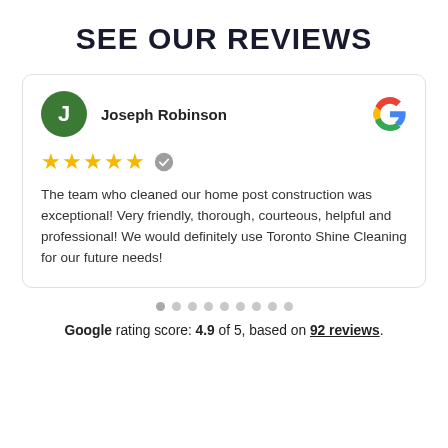SEE OUR REVIEWS
Joseph Robinson
★★★★★
The team who cleaned our home post construction was exceptional! Very friendly, thorough, courteous, helpful and professional! We would definitely use Toronto Shine Cleaning for our future needs!
Google rating score: 4.9 of 5, based on 92 reviews.